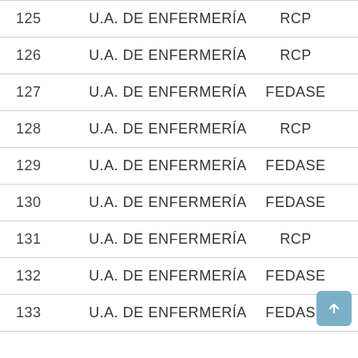| 125 | U.A. DE ENFERMERÍA | RCP | ROJA |
| 126 | U.A. DE ENFERMERÍA | RCP | ROJA |
| 127 | U.A. DE ENFERMERÍA | FEDASE | AZUL |
| 128 | U.A. DE ENFERMERÍA | RCP | ROJA |
| 129 | U.A. DE ENFERMERÍA | FEDASE | AZUL |
| 130 | U.A. DE ENFERMERÍA | FEDASE | AZUL |
| 131 | U.A. DE ENFERMERÍA | RCP | ROJA |
| 132 | U.A. DE ENFERMERÍA | FEDASE | AZUL |
| 133 | U.A. DE ENFERMERÍA | FEDASE | AZUL |